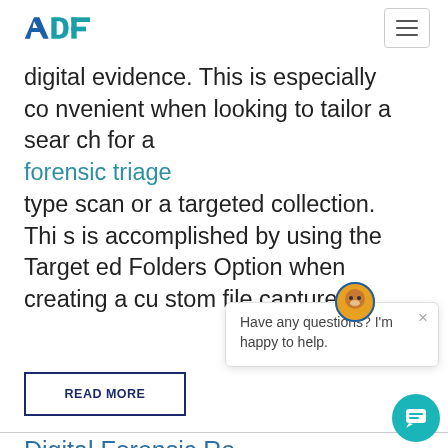ADF [logo] [hamburger menu]
digital evidence. This is especially convenient when looking to tailor a search for a forensic triage type scan or a targeted collection. This is accomplished by using the Targeted Folders Option when creating a custom file capture.
Have any questions? I'm happy to help.
READ MORE
Digital Forensic Re...